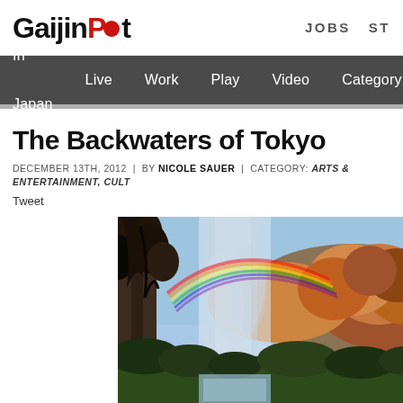GaijinPot | JOBS ST
In Japan  Live  Work  Play  Video  Category
The Backwaters of Tokyo
DECEMBER 13TH, 2012 | BY NICOLE SAUER | CATEGORY: ARTS & ENTERTAINMENT, CULT...
Tweet
[Figure (photo): Outdoor scene with a waterfall mist and rainbow, surrounded by autumn-colored trees with orange and brown foliage against a blue sky.]